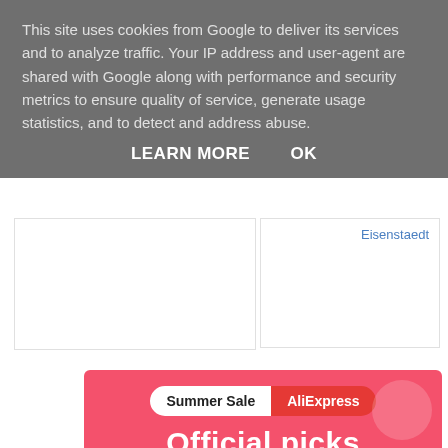This site uses cookies from Google to deliver its services and to analyze traffic. Your IP address and user-agent are shared with Google along with performance and security metrics to ensure quality of service, generate usage statistics, and to detect and address abuse.
LEARN MORE    OK
Eisenstaedt
[Figure (infographic): AliExpress Summer Sale advertisement banner with pink background reading 'Summer Sale AliExpress Official picks Shop now' with product images of a robot vacuum and other electronics]